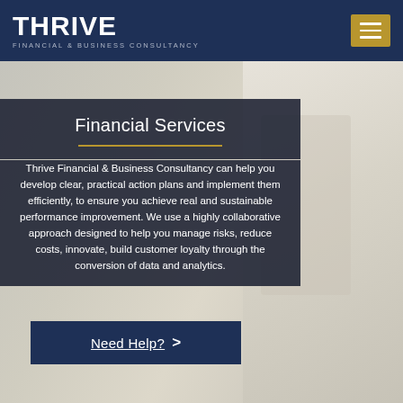THRIVE FINANCIAL & BUSINESS CONSULTANCY
[Figure (photo): Background photo of a person in business attire reviewing documents, partially visible on the right side of the page]
Financial Services
Thrive Financial & Business Consultancy can help you develop clear, practical action plans and implement them efficiently, to ensure you achieve real and sustainable performance improvement. We use a highly collaborative approach designed to help you manage risks, reduce costs, innovate, build customer loyalty through the conversion of data and analytics.
Need Help? >